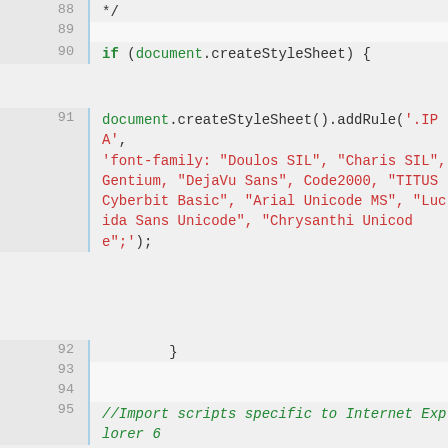Code snippet showing JavaScript source code lines 88–96, including if (document.createStyleSheet) block with document.createStyleSheet().addRule('.IPA', 'font-family: ...') and a comment //Import scripts specific to Internet Explorer 6 followed by if (navigator.appVersion...